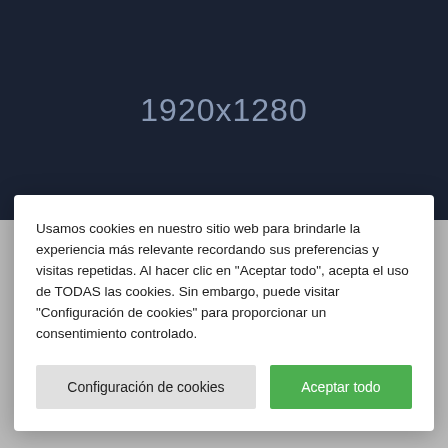[Figure (other): Dark navy blue image placeholder showing dimensions '1920x1280' in gray text]
Usamos cookies en nuestro sitio web para brindarle la experiencia más relevante recordando sus preferencias y visitas repetidas. Al hacer clic en "Aceptar todo", acepta el uso de TODAS las cookies. Sin embargo, puede visitar "Configuración de cookies" para proporcionar un consentimiento controlado.
Configuración de cookies
Aceptar todo
Leverage agile frameworks to provide a robust synopsis for high level overviews. Iterative approaches to corporate strategy foster collaborative thinking to further the overall value proposition. Organically grow